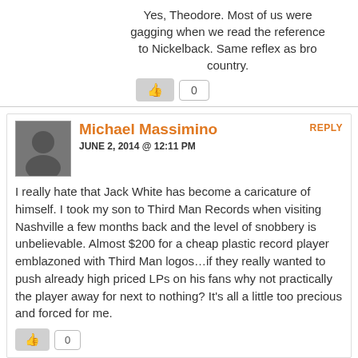Yes, Theodore. Most of us were gagging when we read the reference to Nickelback. Same reflex as bro country.
0
Michael Massimino
JUNE 2, 2014 @ 12:11 PM
REPLY
I really hate that Jack White has become a caricature of himself. I took my son to Third Man Records when visiting Nashville a few months back and the level of snobbery is unbelievable. Almost $200 for a cheap plastic record player emblazoned with Third Man logos…if they really wanted to push already high priced LPs on his fans why not practically the player away for next to nothing? It's all a little too precious and forced for me.
0
good neighbor
JUNE 2, 2014 @ 1:18 PM
REPLY
Keep in mind Jack was both married at a time and was a co collaborator, in the art experiment that was the white stripes with Meg, both of these levels of relationships are intensively